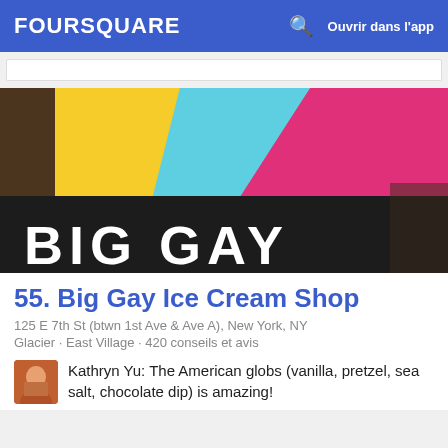FOURSQUARE  Ouvrir dans l'app
[Figure (photo): Colorful sign reading BIG GAY with yellow, cyan/blue, and pink/magenta diagonal color sections above bold white text on dark background]
55. Big Gay Ice Cream Shop
125 E 7th St (btwn 1st Ave & Ave A), New York, NY
Glacier · East Village · 420 conseils et avis
Kathryn Yu: The American globs (vanilla, pretzel, sea salt, chocolate dip) is amazing!